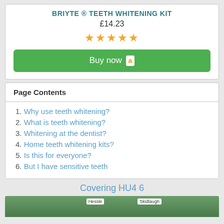BRIYTE ® TEETH WHITENING KIT
£14.23
★★★★★
Buy now (Amazon)
Page Contents
1. Why use teeth whitening?
2. What is teeth whitening?
3. Whitening at the dentist?
4. Home teeth whitening kits?
5. Is this for everyone?
6. But I have sensitive teeth
Covering HU4 6
[Figure (map): Partial map showing area covering HU4 6, with labels including Hessle and Skidlaugh visible]